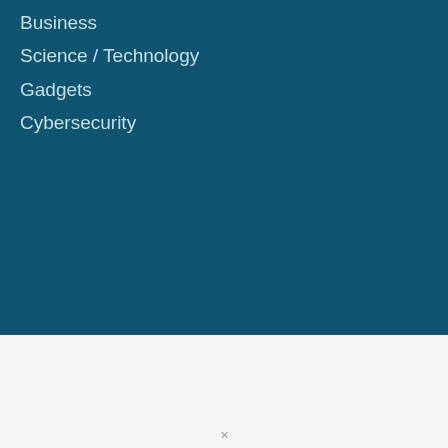Business
Science / Technology
Gadgets
Cybersecurity